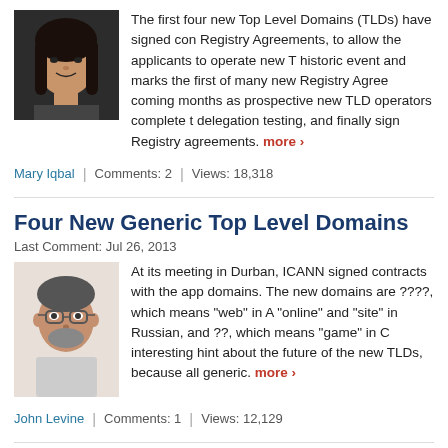The first four new Top Level Domains (TLDs) have signed contracts — Registry Agreements, to allow the applicants to operate new TLDs. This is a historic event and marks the first of many new Registry Agreements coming in the coming months as prospective new TLD operators complete testing, pre-delegation testing, and finally sign Registry agreements. more
Mary Iqbal | Comments: 2 | Views: 18,318
Four New Generic Top Level Domains
Last Comment: Jul 26, 2013
At its meeting in Durban, ICANN signed contracts with the applicants for four new domains. The new domains are ????, which means "web" in Arabic, and ???, meaning "online" and "site" in Russian, and ??, which means "game" in Chinese. This is an interesting hint about the future of the new TLDs, because all four are generic. more
John Levine | Comments: 1 | Views: 12,129
The “ICANN Africa Strategy” Is Not the Same as the 'A...
Last Comment: Nov 21, 2012